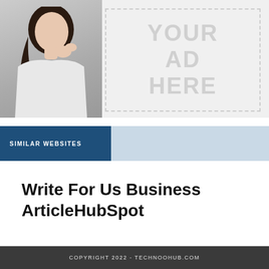[Figure (photo): Woman holding something near her face, shown from the side, with long dark hair and white clothing. Adjacent to a dashed-border ad placeholder box reading YOUR AD HERE.]
SIMILAR WEBSITES
Write For Us Business ArticleHubSpot
COPYRIGHT 2022 - TECHNOOHUB.COM